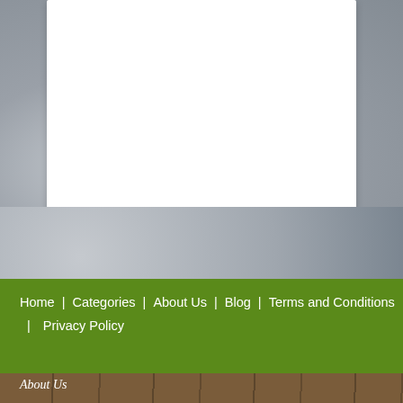[Figure (photo): Stone/pebble background with a large white card/panel overlaid on top]
Home | Categories | About Us | Blog | Terms and Conditions | Privacy Policy
[Figure (photo): Wooden plank background at the bottom of the page]
About Us